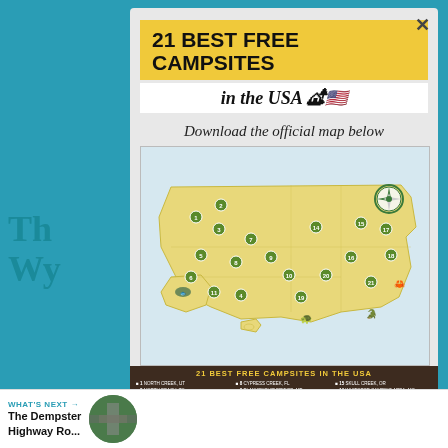21 BEST FREE CAMPSITES
in the USA 🏕🇺🇸
Download the official map below
[Figure (map): Illustrated map of the USA showing 21 best free campsite locations marked with numbered icons across the country, with decorative wildlife illustrations]
21 BEST FREE CAMPSITES IN THE USA — legend listing all 21 sites by number
WHAT'S NEXT → The Dempster Highway Ro...